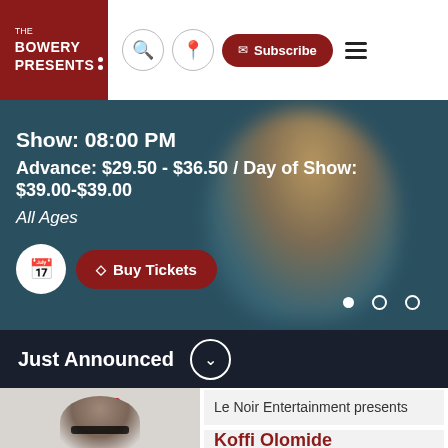[Figure (logo): The Bowery Presents logo — white text on dark red background with two white dots]
[Figure (screenshot): Navigation bar with search icon, location icon, Subscribe button, and hamburger menu]
Show: 08:00 PM
Advance: $29.50 - $36.50 / Day of Show: $39.00-$39.00
All Ages
[Figure (screenshot): Calendar icon button and Buy Tickets button, plus three carousel dots]
Just Announced
[Figure (photo): Event promotional image for Le Noir Entertainment presents Koffi Olomide — shows Le Noir Presents logo at top and a bald male figure wearing dark glasses at bottom]
Le Noir Entertainment presents
Koffi Olomide